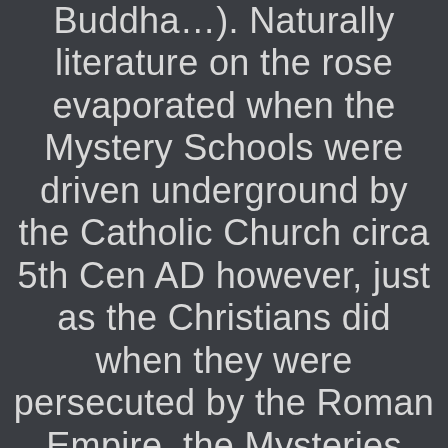Buddha…). Naturally literature on the rose evaporated when the Mystery Schools were driven underground by the Catholic Church circa 5th Cen AD however, just as the Christians did when they were persecuted by the Roman Empire, the Mysteries adopted symbols to use as signs of recognition & the rose became one of their…….favourites. Thus the symbol of the rose held